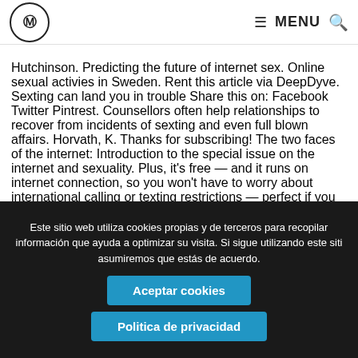MH — MENU (hamburger icon + search icon)
Hutchinson. Predicting the future of internet sex. Online sexual activies in Sweden. Rent this article via DeepDyve. Sexting can land you in trouble Share this on: Facebook Twitter Pintrest. Counsellors often help relationships to recover from incidents of sexting and even full blown affairs. Horvath, K. Thanks for subscribing! The two faces of the internet: Introduction to the special issue on the internet and sexuality. Plus, it's free — and it runs on internet connection, so you won't have to worry about international calling or texting restrictions — perfect if you meet a sext buddy on Tinder Passport. If you're lucky — and you or your loved ones are not sick or in a dire financial position —
Este sitio web utiliza cookies propias y de terceros para recopilar información que ayuda a optimizar su visita. Si sigue utilizando este sitio asumiremos que estás de acuerdo.
Aceptar cookies
Politica de privacidad